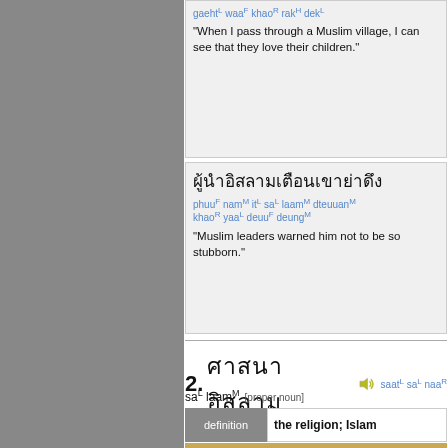gaehtᴸ waaᶠ khaoᴿ rakᴴ dekᴸ
"When I pass through a Muslim village, I can see that they love their children."
Thai script block
phuuᶠ namᴹ itᴸ saᴸ laamᴹ dteuuan... khaoᴿ yaaᴸ deuuᶠ deungᴹ
"Muslim leaders warned him not to be so stubborn."
2. [Thai] saatᴸ saᴸ naaᴿ
saᴸ laamᴹ [proper noun]
|  |  |
| --- | --- |
| definition | the religion; Islam |